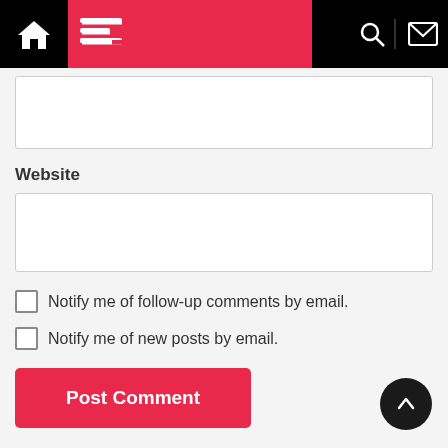Navigation bar with home, menu, moon, search, and mail icons
Website
Notify me of follow-up comments by email.
Notify me of new posts by email.
Post Comment
This site uses Akismet to reduce spam. Learn how your comment data is processed.